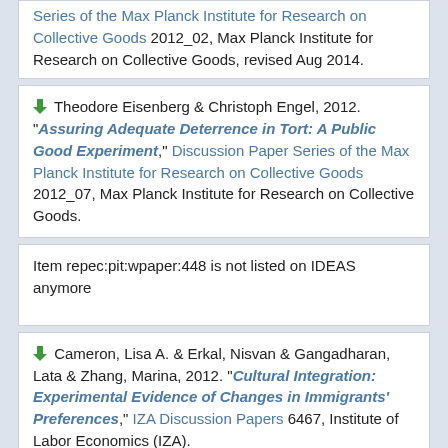Series of the Max Planck Institute for Research on Collective Goods 2012_02, Max Planck Institute for Research on Collective Goods, revised Aug 2014.
Theodore Eisenberg & Christoph Engel, 2012. "Assuring Adequate Deterrence in Tort: A Public Good Experiment," Discussion Paper Series of the Max Planck Institute for Research on Collective Goods 2012_07, Max Planck Institute for Research on Collective Goods.
Item repec:pit:wpaper:448 is not listed on IDEAS anymore
Cameron, Lisa A. & Erkal, Nisvan & Gangadharan, Lata & Zhang, Marina, 2012. "Cultural Integration: Experimental Evidence of Changes in Immigrants' Preferences," IZA Discussion Papers 6467, Institute of Labor Economics (IZA).